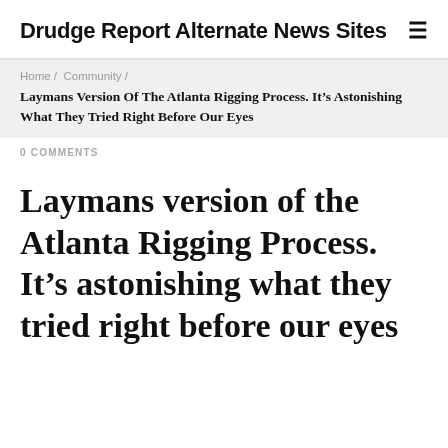Drudge Report Alternate News Sites
Home / Community / Laymans Version Of The Atlanta Rigging Process. It’s Astonishing What They Tried Right Before Our Eyes
0 COMMENTS
Laymans version of the Atlanta Rigging Process. It’s astonishing what they tried right before our eyes